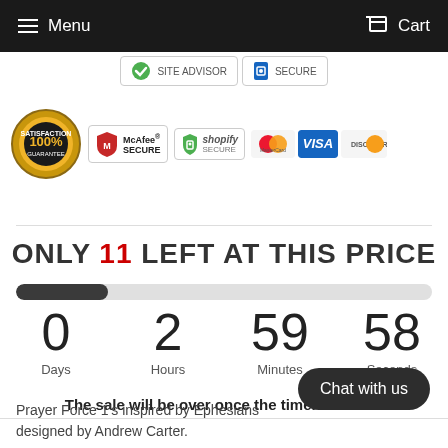Menu   Cart
[Figure (infographic): Security badge row: Site Advisor green checkmark and Secure lock icon badges]
[Figure (infographic): Trust badges row: 100% Satisfaction Guarantee seal, McAfee Secure, Shopify Secure, MasterCard, Visa, Discover payment icons]
ONLY 11 LEFT AT THIS PRICE
[Figure (infographic): Progress bar showing approximately 22% filled (dark gray fill on light gray track)]
0 Days  2 Hours  59 Minutes  58 Seconds
The sale will be over once the timer hits zero
Chat with us
Prayer Force 1's inspired by Ephesians designed by Andrew Carter.